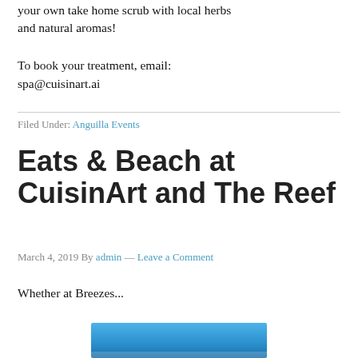your own take home scrub with local herbs and natural aromas!
To book your treatment, email:
spa@cuisinart.ai
Filed Under: Anguilla Events
Eats & Beach at CuisinArt and The Reef
March 4, 2019 By admin — Leave a Comment
Whether at Breezes...
[Figure (photo): Blue sky or ocean photo partially visible at the bottom of the page]